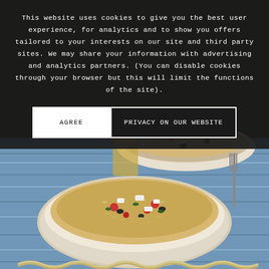This website uses cookies to give you the best user experience, for analytics and to show you offers tailored to your interests on our site and third party sites. We may share your information with advertising and analytics partners. (You can disable cookies through your browser but this will limit the functions of the site).
AGREE
PRIVACY ON OUR WEBSITE
[Figure (photo): Food photo showing two white bowls filled with grain salad (orzo or barley) with vegetables including tomatoes and greens, topped with white cheese, on a blue cloth with a glass of iced tea and fork visible in the background.]